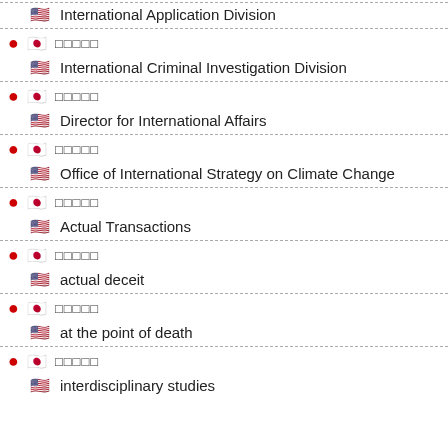International Application Division
□□□□□ / International Criminal Investigation Division
□□□□□ / Director for International Affairs
□□□□□ / Office of International Strategy on Climate Change
□□□□□ / Actual Transactions
□□□□□ / actual deceit
□□□□□ / at the point of death
□□□□□ / interdisciplinary studies